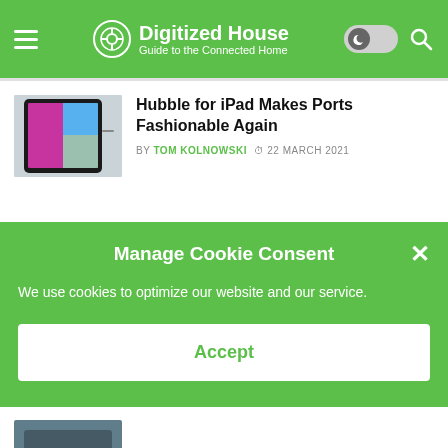Digitized House — Guide to the Connected Home
Hubble for iPad Makes Ports Fashionable Again
BY TOM KOLNOWSKI  22 MARCH 2021
Manage Cookie Consent
We use cookies to optimize our website and our service.
Accept
New Google Nest Thermostat Signifies Break From Nest App
BY TOM KOLNOWSKI  29 OCTOBER 2020